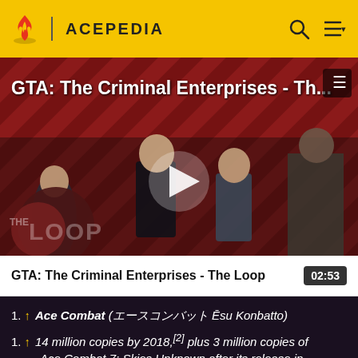ACEPEDIA
[Figure (screenshot): Video thumbnail for GTA: The Criminal Enterprises - The Loop, showing game characters on a striped red/dark background with THE LOOP logo, a play button in the center]
GTA: The Criminal Enterprises - The Loop
02:53
Ace Combat (エースコンバット Ēsu Konbatto)
14 million copies by 2018,[2] plus 3 million copies of Ace Combat 7: Skies Unknown after its release in